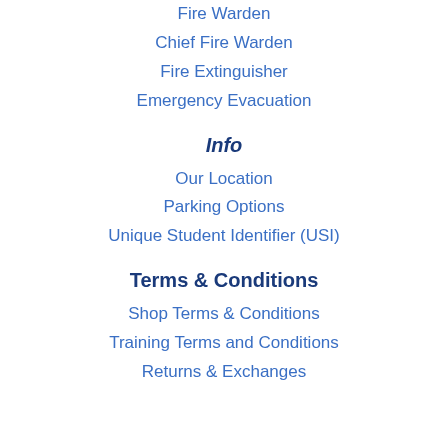Fire Warden
Chief Fire Warden
Fire Extinguisher
Emergency Evacuation
Info
Our Location
Parking Options
Unique Student Identifier (USI)
Terms & Conditions
Shop Terms & Conditions
Training Terms and Conditions
Returns & Exchanges